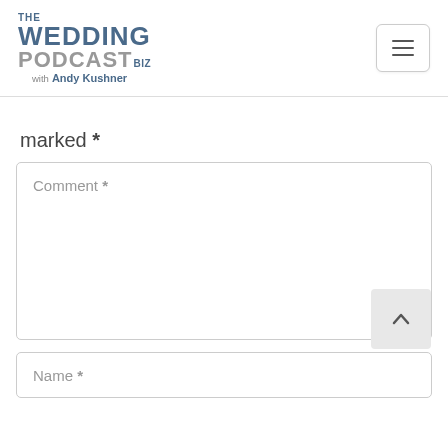[Figure (logo): The Wedding Podcast Biz with Andy Kushner logo - text-based logo with blue and gray colors]
[Figure (other): Hamburger menu button - three horizontal lines in a rounded rectangle border]
marked *
Comment *
Name *